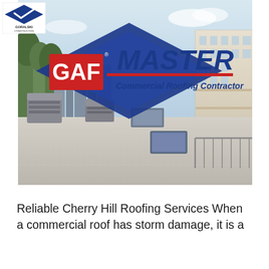[Figure (logo): Goralski Construction logo in top-left corner, diamond/chevron shape with text 'GORALSKI CONSTRUCTION SINCE 1956']
[Figure (photo): Commercial rooftop photo showing HVAC units and city skyline in background, overlaid with GAF Master Commercial Roofing Contractor logo (blue diamond shape with red GAF square logo and blue MASTER text)]
Reliable Cherry Hill Roofing Services When a commercial roof has storm damage, it is a